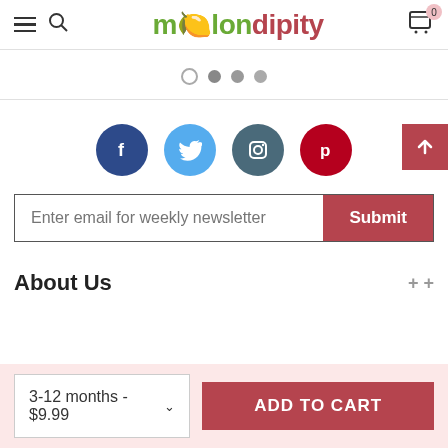melondipity — navigation header with hamburger, search, logo, cart (0)
[Figure (screenshot): Carousel pagination dots: one outline dot and three filled dots]
[Figure (infographic): Social media icons: Facebook, Twitter, Instagram, Pinterest circles, and a back-to-top arrow button]
Enter email for weekly newsletter — Submit button
About Us
3-12 months - $9.99 — ADD TO CART